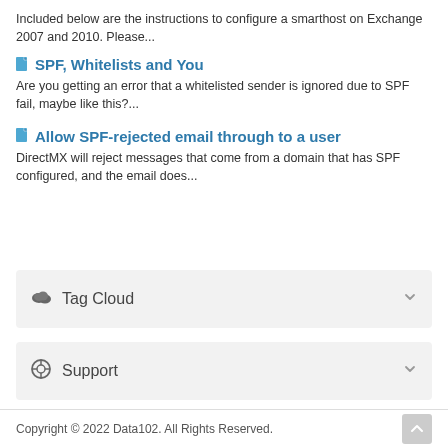Included below are the instructions to configure a smarthost on Exchange 2007 and 2010. Please...
SPF, Whitelists and You
Are you getting an error that a whitelisted sender is ignored due to SPF fail, maybe like this?...
Allow SPF-rejected email through to a user
DirectMX will reject messages that come from a domain that has SPF configured, and the email does...
Tag Cloud
Support
Copyright © 2022 Data102. All Rights Reserved.